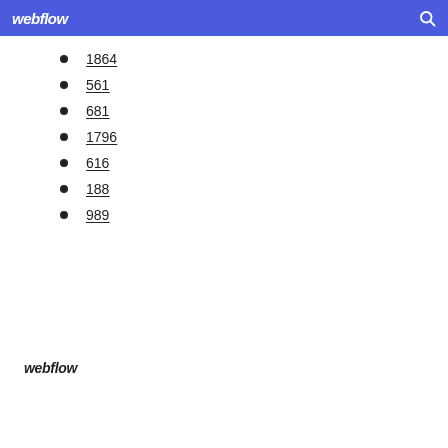webflow
1864
561
681
1796
616
188
989
webflow